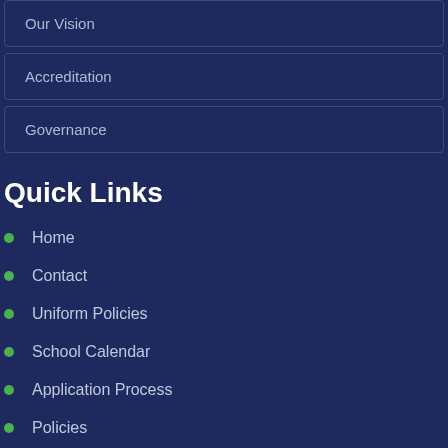Our Vision
Accreditation
Governance
Quick Links
Home
Contact
Uniform Policies
School Calendar
Application Process
Policies